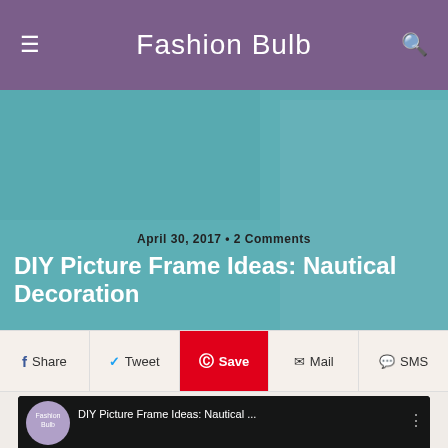Fashion Bulb
April 30, 2017 • 2 Comments
DIY Picture Frame Ideas: Nautical Decoration
Share  Tweet  Save  Mail  SMS
[Figure (screenshot): YouTube video thumbnail showing DIY Picture Frame Ideas: Nautical Decoration with play button overlay and video channel logo]